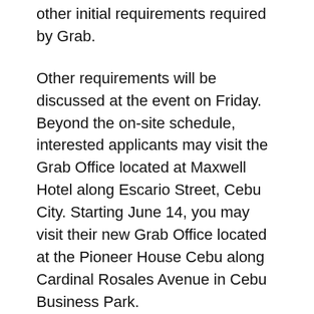other initial requirements required by Grab.
Other requirements will be discussed at the event on Friday. Beyond the on-site schedule, interested applicants may visit the Grab Office located at Maxwell Hotel along Escario Street, Cebu City. Starting June 14, you may visit their new Grab Office located at the Pioneer House Cebu along Cardinal Rosales Avenue in Cebu Business Park.
GrabCar is a car-booking app that revolutionizes the way people move by sending a private vehicle at the tap of a button.